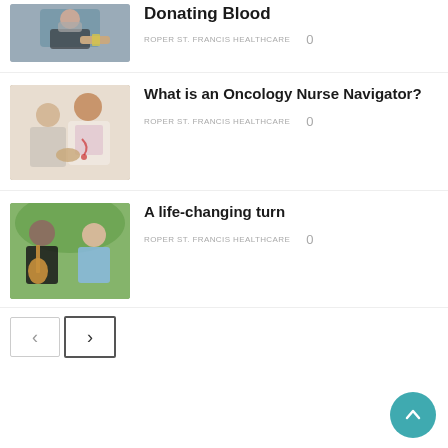[Figure (photo): Person in mask donating blood, sitting in medical chair with bandage on arm]
Donating Blood
ROPER ST. FRANCIS HEALTHCARE   0
[Figure (photo): Female doctor or nurse talking to an elderly patient, holding hands]
What is an Oncology Nurse Navigator?
ROPER ST. FRANCIS HEALTHCARE   0
[Figure (photo): Older man playing guitar with a woman in blue scrubs smiling beside him outdoors]
A life-changing turn
ROPER ST. FRANCIS HEALTHCARE   0